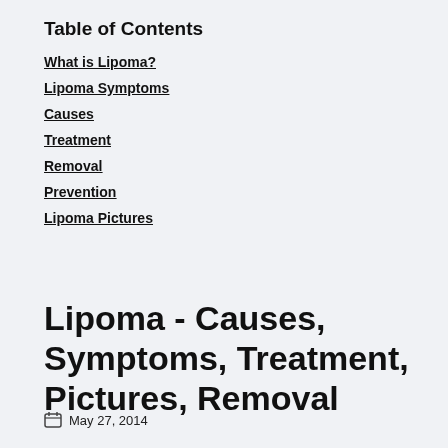Table of Contents
What is Lipoma?
Lipoma Symptoms
Causes
Treatment
Removal
Prevention
Lipoma Pictures
Lipoma - Causes, Symptoms, Treatment, Pictures, Removal
May 27, 2014